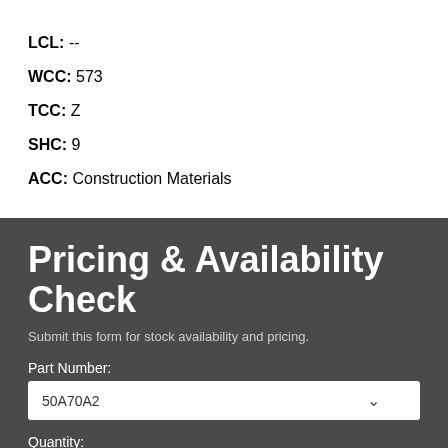LCL: --
WCC: 573
TCC: Z
SHC: 9
ACC: Construction Materials
Pricing & Availability Check
Submit this form for stock availability and pricing.
Part Number:
50A70A2
Quantity:
1
Email Address:
Send quote to..